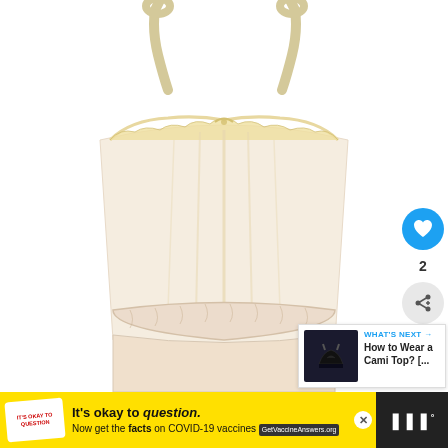[Figure (photo): Product photo of a cream/ivory colored camisole top with thin spaghetti straps with loops at the top, a ruffled/frilled lace neckline, vertical ribbon/boning detailing on the bodice, and an elastic waistband. Shown against a white background.]
[Figure (infographic): Blue circular heart/like button showing a heart icon, with count '2' below it, and a share button (circle with share icon) below that]
[Figure (screenshot): WHAT'S NEXT arrow label in blue, with title 'How to Wear a Cami Top? [...]' and a thumbnail showing a black cami top]
[Figure (infographic): Yellow advertisement banner: logo on left, text 'It’s okay to question. Now get the facts on COVID-19 vaccines GetVaccineAnswers.org', close button X, and dark right panel with sound icon]